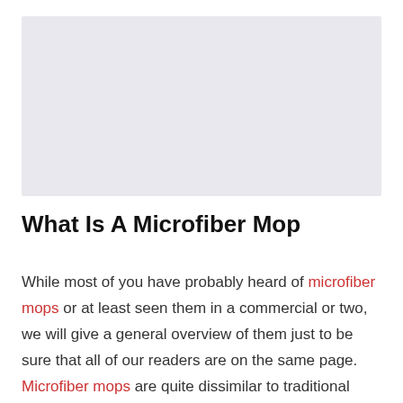[Figure (photo): A light gray rectangular placeholder image area at the top of the page.]
What Is A Microfiber Mop
While most of you have probably heard of microfiber mops or at least seen them in a commercial or two, we will give a general overview of them just to be sure that all of our readers are on the same page. Microfiber mops are quite dissimilar to traditional mops in all but